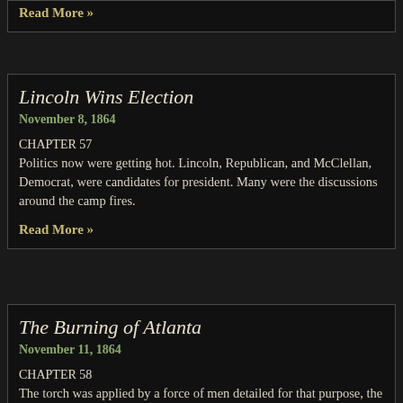Read More »
Lincoln Wins Election
November 8, 1864
CHAPTER 57
Politics now were getting hot. Lincoln, Republican, and McClellan, Democrat, were candidates for president. Many were the discussions around the camp fires.
Read More »
The Burning of Atlanta
November 11, 1864
CHAPTER 58
The torch was applied by a force of men detailed for that purpose, the black smoke rising high in the air, and hanging like a pall over the once beautiful, but now doomed city.